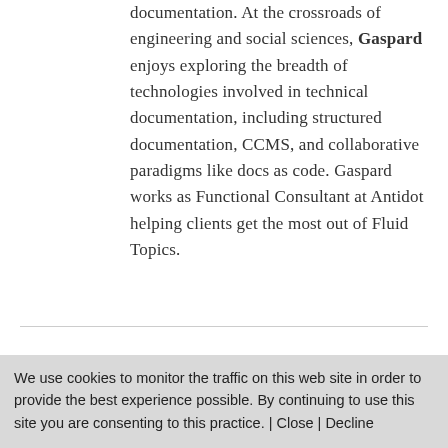documentation. At the crossroads of engineering and social sciences, Gaspard enjoys exploring the breadth of technologies involved in technical documentation, including structured documentation, CCMS, and collaborative paradigms like docs as code. Gaspard works as Functional Consultant at Antidot helping clients get the most out of Fluid Topics.
[Figure (photo): Partial image visible at bottom left, appears to be a photo with blue tones]
We use cookies to monitor the traffic on this web site in order to provide the best experience possible. By continuing to use this site you are consenting to this practice. | Close | Decline